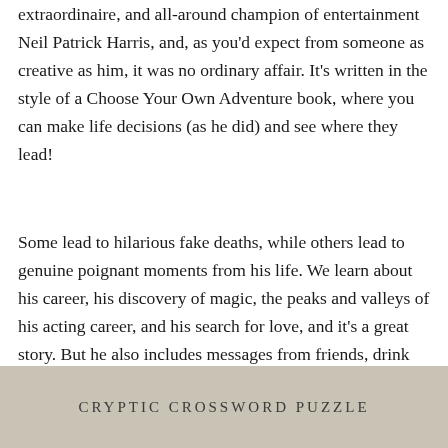extraordinaire, and all-around champion of entertainment Neil Patrick Harris, and, as you'd expect from someone as creative as him, it was no ordinary affair. It's written in the style of a Choose Your Own Adventure book, where you can make life decisions (as he did) and see where they lead!
Some lead to hilarious fake deaths, while others lead to genuine poignant moments from his life. We learn about his career, his discovery of magic, the peaks and valleys of his acting career, and his search for love, and it's a great story. But he also includes messages from friends, drink recipes, and other hidden gems in the book, one of which was an unexpected cryptic crossword puzzle!
CRYPTIC CROSSWORD PUZZLE